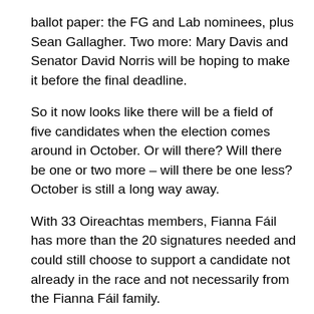ballot paper: the FG and Lab nominees, plus Sean Gallagher. Two more: Mary Davis and Senator David Norris will be hoping to make it before the final deadline.
So it now looks like there will be a field of five candidates when the election comes around in October. Or will there? Will there be one or two more – will there be one less?  October is still a long way away.
With 33 Oireachtas members, Fianna Fáil has more than the 20 signatures needed and could still choose to support a candidate not already in the race and not necessarily from the Fianna Fáil family.
With a total of 31, the Independent TDs and Senators, including United Left Alliance, could also nominate, if they can find one on whom twenty of them can agree Though Norris supporters suggest he has 8 or 9 of them